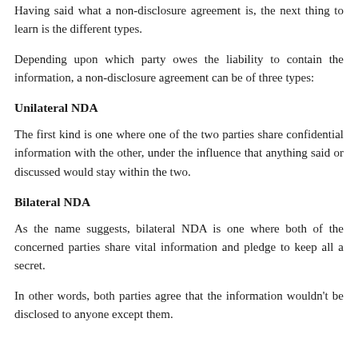Having said what a non-disclosure agreement is, the next thing to learn is the different types.
Depending upon which party owes the liability to contain the information, a non-disclosure agreement can be of three types:
Unilateral NDA
The first kind is one where one of the two parties share confidential information with the other, under the influence that anything said or discussed would stay within the two.
Bilateral NDA
As the name suggests, bilateral NDA is one where both of the concerned parties share vital information and pledge to keep all a secret.
In other words, both parties agree that the information wouldn't be disclosed to anyone except them.